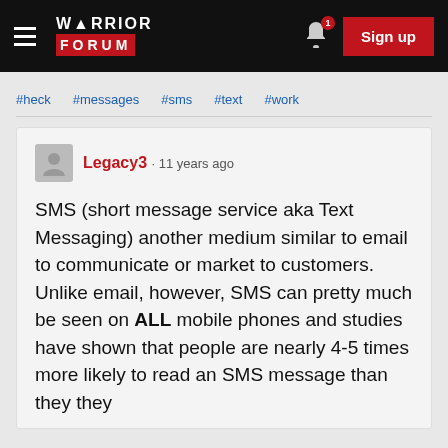Warrior Forum — Navigation bar with hamburger menu, logo, bell notification (1), Sign up button
#heck
#messages
#sms
#text
#work
Legacy3 · 11 years ago

SMS (short message service aka Text Messaging) another medium similar to email to communicate or market to customers. Unlike email, however, SMS can pretty much be seen on ALL mobile phones and studies have shown that people are nearly 4-5 times more likely to read an SMS message than they they